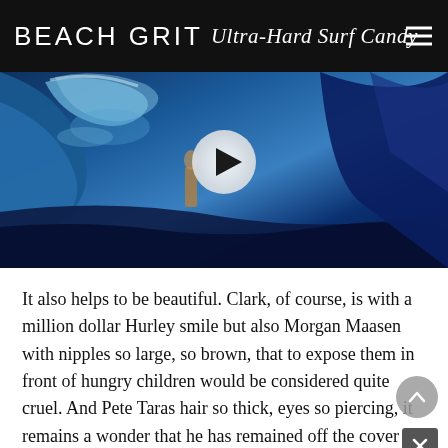BEACH GRIT Ultra-Hard Surf Candy
[Figure (photo): Surf video thumbnail showing a surfer riding a large blue wave, with a white circular play button overlay in the center]
It also helps to be beautiful. Clark, of course, is with a million dollar Hurley smile but also Morgan Maasen with nipples so large, so brown, that to expose them in front of hungry children would be considered quite cruel. And Pete Taras hair so thick, eyes so piercing, it remains a wonder that he has remained off the cover of GQ (Greek addition) for so long.